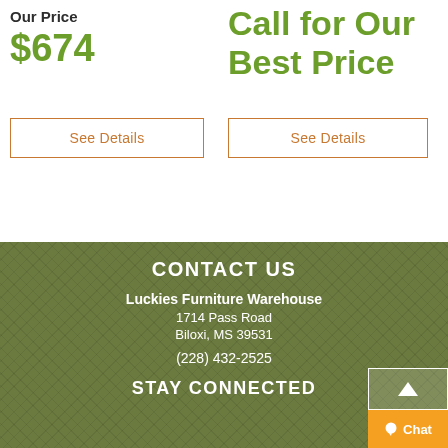Our Price
$674
Call for Our Best Price
See Details
See Details
CONTACT US
Luckies Furniture Warehouse
1714 Pass Road
Biloxi, MS 39531
(228) 432-2525
STAY CONNECTED